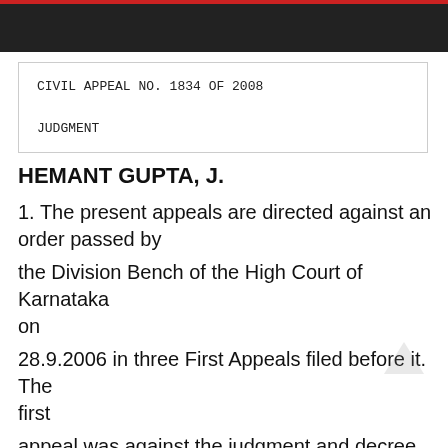Navigation bar with home, menu, search, shuffle icons
CIVIL APPEAL NO. 1834 OF 2008

JUDGMENT
HEMANT GUPTA, J.
1. The present appeals are directed against an order passed by
the Division Bench of the High Court of Karnataka on
28.9.2006 in three First Appeals filed before it. The first
appeal was against the judgment and decree